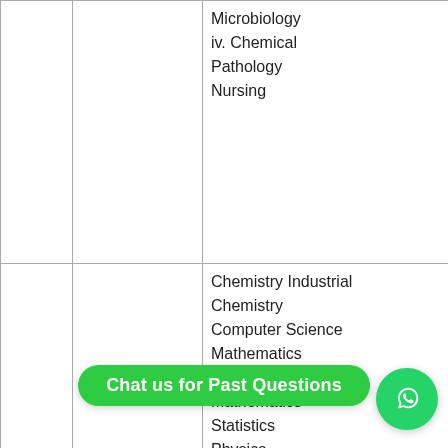|  |  |  |
| --- | --- | --- |
|  |  | Microbiology
iv. Chemical Pathology
Nursing |
| 2. | Chemistry, A/L Mathematics, | Chemistry Industrial Chemistry
Computer Science
Mathematics
Industrial Mathematics
Statistics
Physics
Geophysics
Architecture
Building
Electrical/Electronics
Technology... |